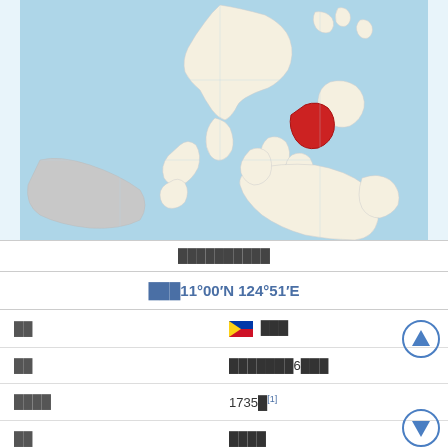[Figure (map): Map of the Philippines with a highlighted red region in the Visayas area (Leyte province area), surrounded by light blue sea and beige land masses including Borneo in the lower left.]
██████████
███11°00′N 124°51′E
| ██ | 🇵🇭 ███ |
| ██ | ███████6███ |
| ████ | 1735█[1] |
| ██ | ████ |
██████████████████████████████████████████████████████████████████████████████████████████ █████ | ██████